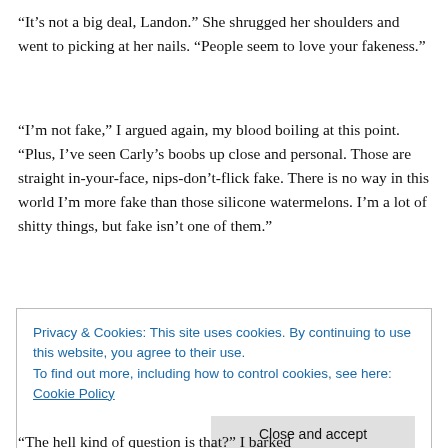“It’s not a big deal, Landon.” She shrugged her shoulders and went to picking at her nails. “People seem to love your fakeness.”
“I’m not fake,” I argued again, my blood boiling at this point. “Plus, I’ve seen Carly’s boobs up close and personal. Those are straight in-your-face, nips-don’t-flick fake. There is no way in this world I’m more fake than those silicone watermelons. I’m a lot of shitty things, but fake isn’t one of them.”
Privacy & Cookies: This site uses cookies. By continuing to use this website, you agree to their use.
To find out more, including how to control cookies, see here: Cookie Policy
[Close and accept]
“The hell kind of question is that?” I barked